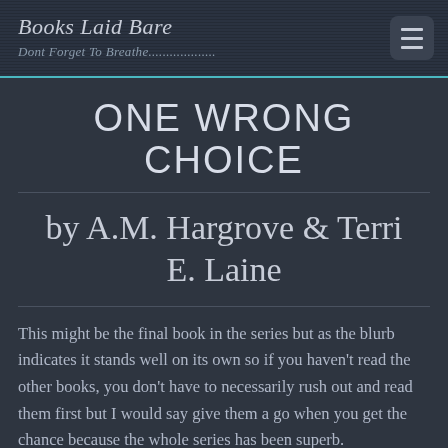Books Laid Bare — Dont Forget To Breathe.................
ONE WRONG CHOICE
by A.M. Hargrove & Terri E. Laine
This might be the final book in the series but as the blurb indicates it stands well on its own so if you haven't read the other books, you don't have to necessarily rush out and read them first but I would say give them a go when you get the chance because the whole series has been superb.
Like b...